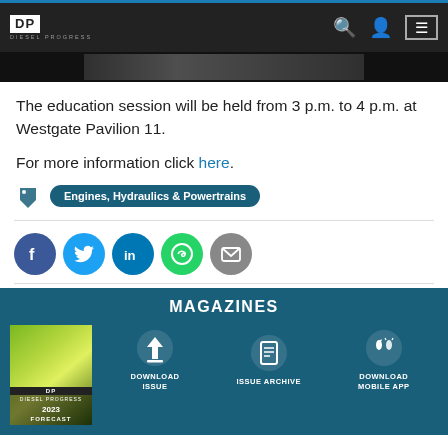Diesel Progress navigation bar with logo, search, account, and menu icons
[Figure (photo): Cropped hero image from article, dark background]
The education session will be held from 3 p.m. to 4 p.m. at Westgate Pavilion 11.
For more information click here.
Engines, Hydraulics & Powertrains (tag)
[Figure (infographic): Social sharing icons: Facebook, Twitter, LinkedIn, WhatsApp, Email]
MAGAZINES
[Figure (infographic): Magazines section with cover image of Diesel Progress 2023 Forecast issue, and links: DOWNLOAD ISSUE, ISSUE ARCHIVE, DOWNLOAD MOBILE APP]